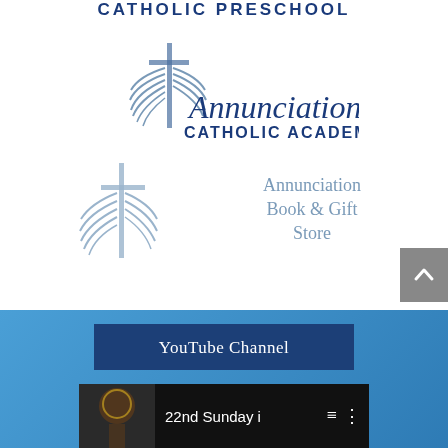CATHOLIC PRESCHOOL
[Figure (logo): Annunciation Catholic Academy logo with stylized cross and wing symbol in dark blue]
[Figure (logo): Annunciation Book & Gift Store logo with stylized cross and wing symbol in steel blue]
YouTube Channel
[Figure (screenshot): Video thumbnail showing '22nd Sunday i' with menu icons]